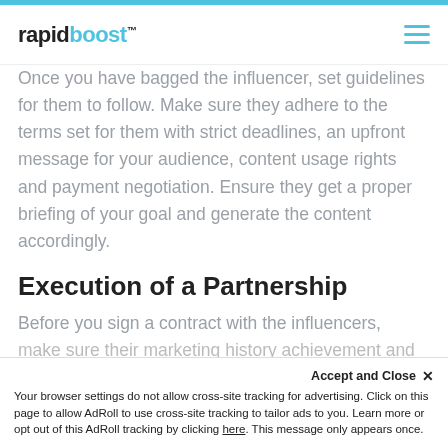rapidboost™
Once you have bagged the influencer, set guidelines for them to follow. Make sure they adhere to the terms set for them with strict deadlines, an upfront message for your audience, content usage rights and payment negotiation. Ensure they get a proper briefing of your goal and generate the content accordingly.
Execution of a Partnership
Before you sign a contract with the influencers, make sure their marketing history achievement and
Accept and Close ×
Your browser settings do not allow cross-site tracking for advertising. Click on this page to allow AdRoll to use cross-site tracking to tailor ads to you. Learn more or opt out of this AdRoll tracking by clicking here. This message only appears once.